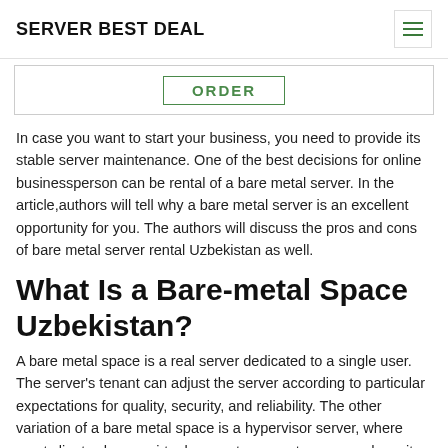SERVER BEST DEAL
ORDER
In case you want to start your business, you need to provide its stable server maintenance. One of the best decisions for online businessperson can be rental of a bare metal server. In the article,authors will tell why a bare metal server is an excellent opportunity for you. The authors will discuss the pros and cons of bare metal server rental Uzbekistan as well.
What Is a Bare-metal Space Uzbekistan?
A bare metal space is a real server dedicated to a single user. The server's tenant can adjust the server according to particular expectations for quality, security, and reliability. The other variation of a bare metal space is a hypervisor server, where most clients share a virtual server to compute,save, and use its resources. Bare metal servers are as well known as single-tenant real space or...